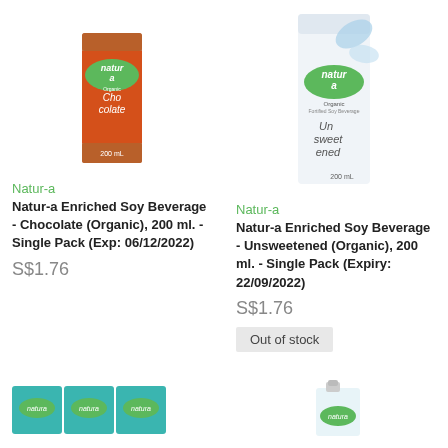[Figure (photo): Natur-a Organic Enriched Soy Beverage Chocolate 200mL tetra pack product photo]
[Figure (photo): Natur-a Organic Enriched Soy Beverage Unsweetened 200mL tetra pack product photo]
Natur-a
Natur-a Enriched Soy Beverage - Chocolate (Organic), 200 ml. - Single Pack (Exp: 06/12/2022)
S$1.76
Natur-a
Natur-a Enriched Soy Beverage - Unsweetened (Organic), 200 ml. - Single Pack (Expiry: 22/09/2022)
S$1.76
Out of stock
[Figure (photo): Natur-a product multi-pack boxes (partial, bottom of page)]
[Figure (photo): Natur-a product single carton (partial, bottom of page)]